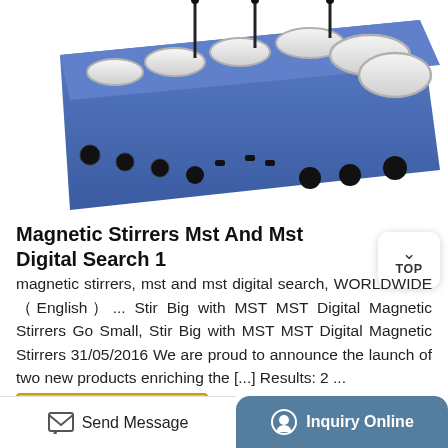[Figure (photo): Blue multi-position magnetic stirrer with silver circular stirring platforms and control knobs, viewed from an angle]
Magnetic Stirrers Mst And Mst Digital Search 1
magnetic stirrers, mst and mst digital search, WORLDWIDE (English) ... Stir Big with MST MST Digital Magnetic Stirrers Go Small, Stir Big with MST MST Digital Magnetic Stirrers 31/05/2016 We are proud to announce the launch of two new products enriching the [...] Results: 2 ...
More Product
Send Message
Inquiry Online